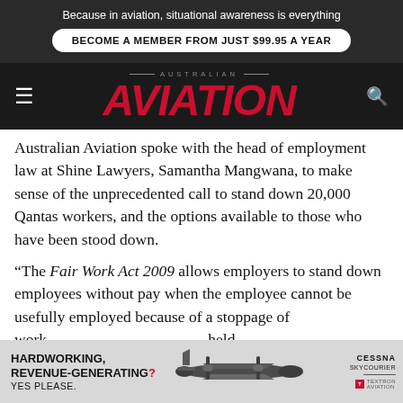Because in aviation, situational awareness is everything
BECOME A MEMBER FROM JUST $99.95 A YEAR
AUSTRALIAN AVIATION
Australian Aviation spoke with the head of employment law at Shine Lawyers, Samantha Mangwana, to make sense of the unprecedented call to stand down 20,000 Qantas workers, and the options available to those who have been stood down.
“The Fair Work Act 2009 allows employers to stand down employees without pay when the employee cannot be usefully employed because of a stoppage of work, held responsible for (such as natural disasters).
[Figure (other): Advertisement banner for Cessna SkyCourier aircraft with text HARDWORKING, REVENUE-GENERATING? YES PLEASE. alongside plane image and Cessna SkyCourier logo.]